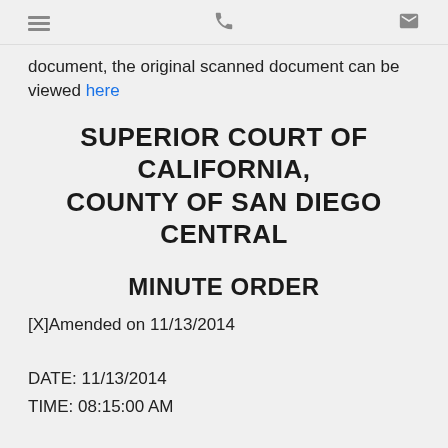[menu icon] [phone icon] [mail icon]
document, the original scanned document can be viewed here
SUPERIOR COURT OF CALIFORNIA, COUNTY OF SAN DIEGO CENTRAL
MINUTE ORDER
[X]Amended on 11/13/2014
DATE: 11/13/2014
TIME: 08:15:00 AM